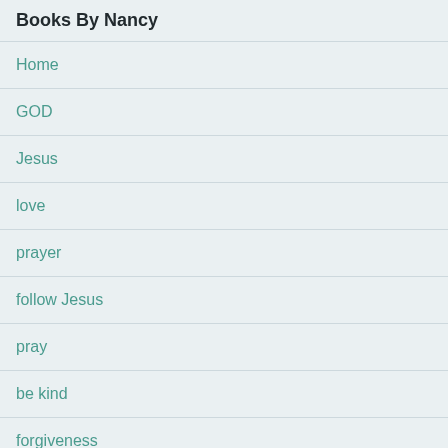Books By Nancy
Home
GOD
Jesus
love
prayer
follow Jesus
pray
be kind
forgiveness